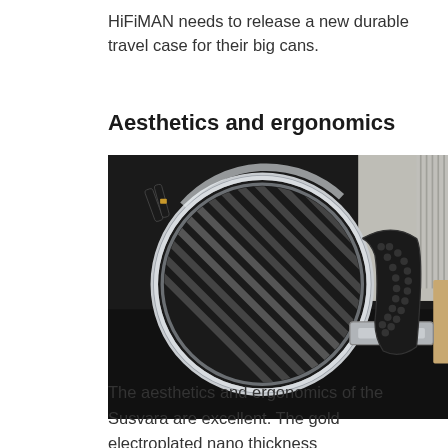HiFiMAN needs to release a new durable travel case for their big cans.
Aesthetics and ergonomics
[Figure (photo): Close-up photo of HiFiMAN Susvara headphones showing the circular grill with diagonal slats, silver metallic housing, and perforated headband against a dark surface background.]
The aesthetics and ergonomics of the Susvara are excellent. The gold electroplated nano thickness